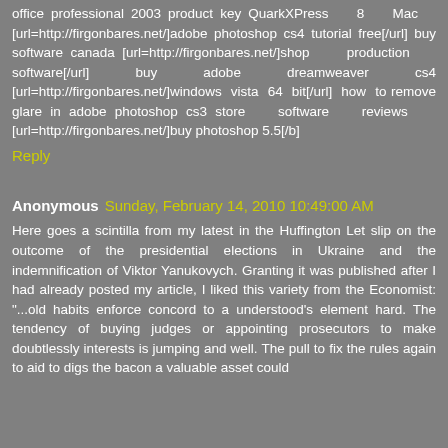office professional 2003 product key QuarkXPress 8 Mac [url=http://firgonbares.net/]adobe photoshop cs4 tutorial free[/url] buy software canada [url=http://firgonbares.net/]shop production software[/url] buy adobe dreamweaver cs4 [url=http://firgonbares.net/]windows vista 64 bit[/url] how to remove glare in adobe photoshop cs3 store software reviews [url=http://firgonbares.net/]buy photoshop 5.5[/b]
Reply
Anonymous Sunday, February 14, 2010 10:49:00 AM
Here goes a scintilla from my latest in the Huffington Let slip on the outcome of the presidential elections in Ukraine and the indemnification of Viktor Yanukovych. Granting it was published after I had already posted my article, I liked this variety from the Economist: "...old habits enforce concord to a understood's element hard. The tendency of buying judges or appointing prosecutors to make doubtlessly interests is jumping and well. The pull to fix the rules again to aid to digs the bacon a valuable asset could